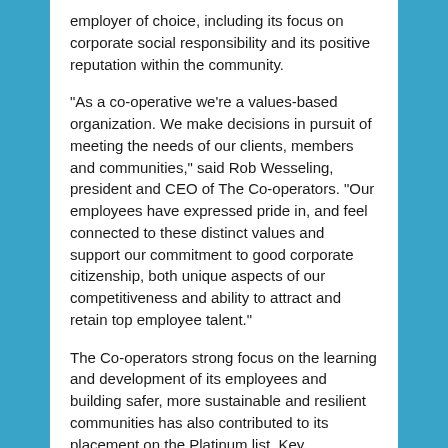employer of choice, including its focus on corporate social responsibility and its positive reputation within the community.
"As a co-operative we're a values-based organization. We make decisions in pursuit of meeting the needs of our clients, members and communities," said Rob Wesseling, president and CEO of The Co-operators. "Our employees have expressed pride in, and feel connected to these distinct values and support our commitment to good corporate citizenship, both unique aspects of our competitiveness and ability to attract and retain top employee talent."
The Co-operators strong focus on the learning and development of its employees and building safer, more sustainable and resilient communities has also contributed to its placement on the Platinum list. Key engagement results include: